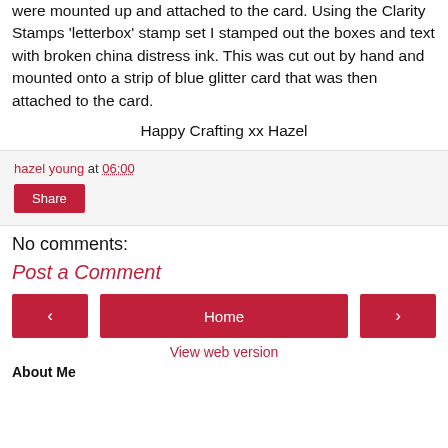were mounted up and attached to the card. Using the Clarity Stamps 'letterbox' stamp set I stamped out the boxes and text with broken china distress ink.  This was cut out by hand and mounted onto a strip of blue glitter card that was then attached to the card.
Happy Crafting xx Hazel
hazel young at 06:00
Share
No comments:
Post a Comment
‹
Home
›
View web version
About Me